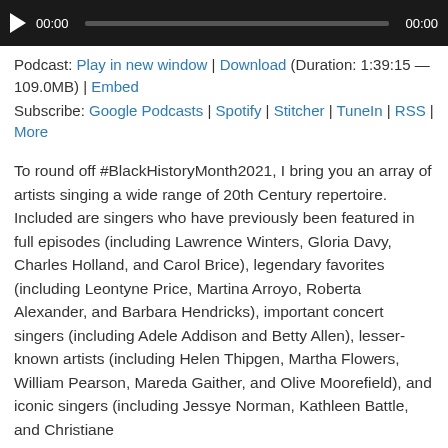[Figure (screenshot): Audio/podcast media player with dark background, play button, time display (00:00), progress bar, and end time (00:00)]
Podcast: Play in new window | Download (Duration: 1:39:15 — 109.0MB) | Embed
Subscribe: Google Podcasts | Spotify | Stitcher | TuneIn | RSS | More
To round off #BlackHistoryMonth2021, I bring you an array of artists singing a wide range of 20th Century repertoire. Included are singers who have previously been featured in full episodes (including Lawrence Winters, Gloria Davy, Charles Holland, and Carol Brice), legendary favorites (including Leontyne Price, Martina Arroyo, Roberta Alexander, and Barbara Hendricks), important concert singers (including Adele Addison and Betty Allen), lesser-known artists (including Helen Thipgen, Martha Flowers, William Pearson, Mareda Gaither, and Olive Moorefield), and iconic singers (including Jessye Norman, Kathleen Battle, and Christiane